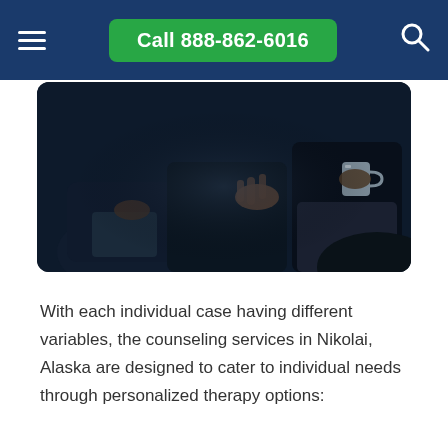Call 888-862-6016
[Figure (photo): Dark photo of people sitting in a group counseling session; one person gestures with an open hand while another holds a mug]
With each individual case having different variables, the counseling services in Nikolai, Alaska are designed to cater to individual needs through personalized therapy options: